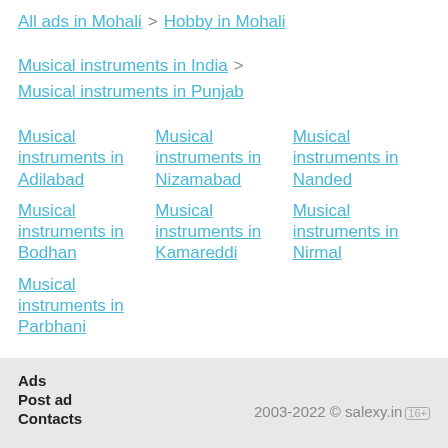All ads in Mohali > Hobby in Mohali
Musical instruments in India > Musical instruments in Punjab
Musical instruments in Adilabad
Musical instruments in Bodhan
Musical instruments in Parbhani
Musical instruments in Nizamabad
Musical instruments in Kamareddi
Musical instruments in Nanded
Musical instruments in Nirmal
Ads Post ad Contacts 2003-2022 © salexy.in 16+